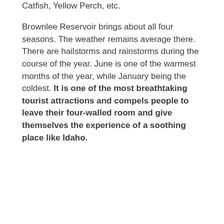Catfish, Yellow Perch, etc.
Brownlee Reservoir brings about all four seasons. The weather remains average there. There are hailstorms and rainstorms during the course of the year. June is one of the warmest months of the year, while January being the coldest. It is one of the most breathtaking tourist attractions and compels people to leave their four-walled room and give themselves the experience of a soothing place like Idaho.